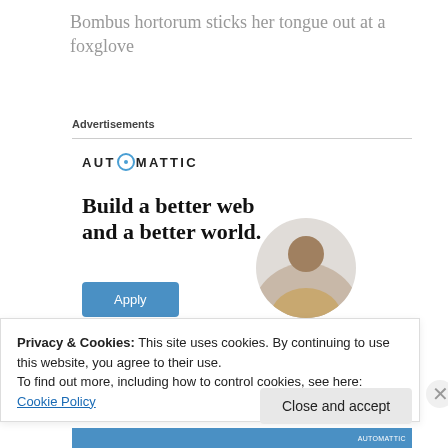Bombus hortorum sticks her tongue out at a foxglove
Advertisements
[Figure (logo): Automattic logo with stylized O containing a blue circle]
Build a better web and a better world.
[Figure (photo): Circular portrait photo of a man with glasses and beard thinking]
Privacy & Cookies: This site uses cookies. By continuing to use this website, you agree to their use.
To find out more, including how to control cookies, see here: Cookie Policy